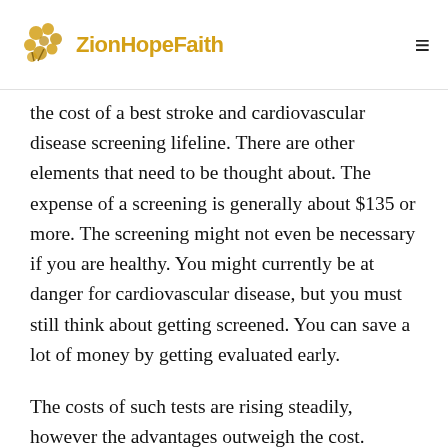ZionHopeFaith
the cost of a best stroke and cardiovascular disease screening lifeline. There are other elements that need to be thought about. The expense of a screening is generally about $135 or more. The screening might not even be necessary if you are healthy. You might currently be at danger for cardiovascular disease, but you must still think about getting screened. You can save a lot of money by getting evaluated early.
The costs of such tests are rising steadily, however the advantages outweigh the cost.